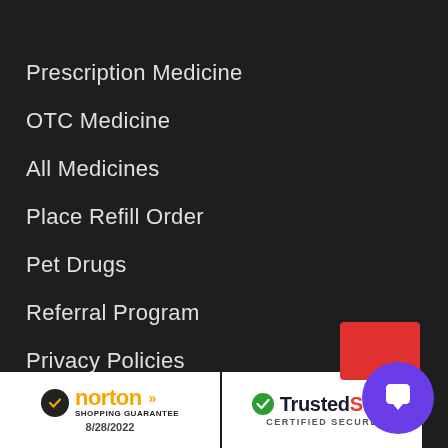Prescription Medicine
OTC Medicine
All Medicines
Place Refill Order
Pet Drugs
Referral Program
Privacy Policies
News and Media
View All Products
[Figure (logo): Norton Shopping Guarantee badge with date 8/28/2022]
[Figure (logo): TrustedSite Certified Secure badge]
[Figure (other): Purple chat button with speech bubble icon and red notification card]